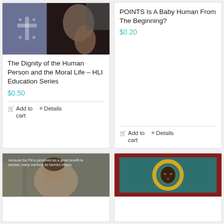[Figure (photo): Photo of a person with hands clasped near face, alongside a slate-blue panel with a cross emblem]
The Dignity of the Human Person and the Moral Life – HLI Education Series
$0.50
Add to cart
Details
POINTS Is A Baby Human From The Beginning?
$0.20
Add to cart
Details
[Figure (photo): Photo of a young woman looking down, with text overlay about the Pill]
[Figure (illustration): Icon-style image of the Black Madonna with gold halo on teal background with red border]